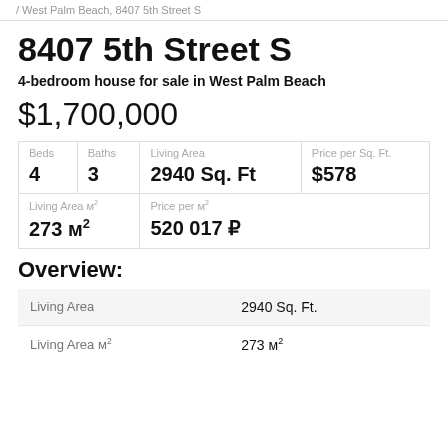/ West Palm Beach, 8407 5th Street S
8407 5th Street S
4-bedroom house for sale in West Palm Beach
$1,700,000
| Beds | Baths | Living Area | Price per Sq. Ft. |
| --- | --- | --- | --- |
| 4 | 3 | 2940 Sq. Ft | $578 |
| Living Area M² | Price per M² |
| --- | --- |
| 273 м² | 520 017 ₽ |
Overview:
| Property | Value |
| --- | --- |
| Living Area | 2940 Sq. Ft. |
| Living Area м² | 273 м² |